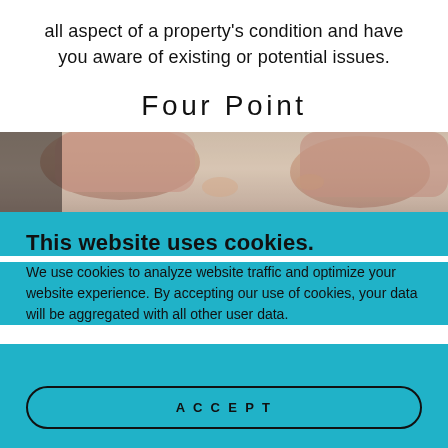all aspect of a property's condition and have you aware of existing or potential issues.
Four Point
[Figure (photo): Close-up photo of a person's hands, likely an inspector examining something, against a light background.]
This website uses cookies.
We use cookies to analyze website traffic and optimize your website experience. By accepting our use of cookies, your data will be aggregated with all other user data.
Accept